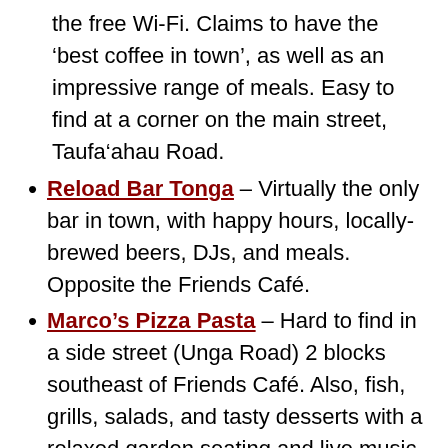the free Wi-Fi. Claims to have the 'best coffee in town', as well as an impressive range of meals. Easy to find at a corner on the main street, Taufa'ahau Road.
Reload Bar Tonga – Virtually the only bar in town, with happy hours, locally-brewed beers, DJs, and meals. Opposite the Friends Café.
Marco's Pizza Pasta – Hard to find in a side street (Unga Road) 2 blocks southeast of Friends Café. Also, fish, grills, salads, and tasty desserts with a relaxed garden seating and live music on weekends.